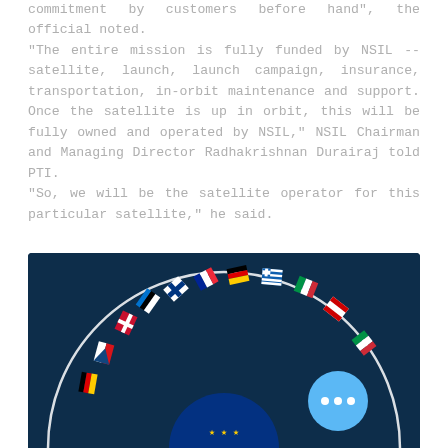commitment by customers before hand", the official noted. "The entire mission is fully funded by NSIL -- satellite, launch, launch campaign, insurance, transportation, in-orbit maintenance and support. Once the satellite is up in orbit, this will be fully owned and operated by NSIL," NSIL Chairman and Managing Director Radhakrishnan Durairaj told PTI. "So, we will be the satellite operator for this particular satellite," he said.
[Figure (illustration): Dark navy background with a circular arc of European country flags arranged in a semicircle. A teal/light blue chat bubble button with three dots is visible at the lower right of the arc. Partial white circle arc visible. Bottom of image is cut off.]